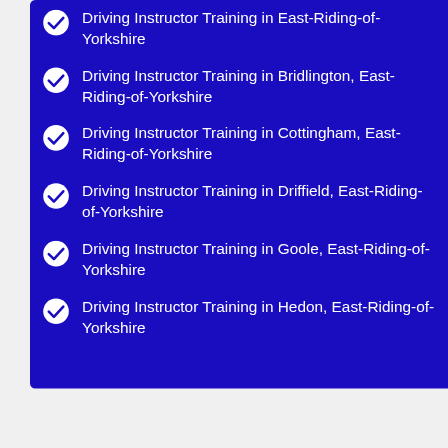Driving Instructor Training in East-Riding-of-Yorkshire
Driving Instructor Training in Bridlington, East-Riding-of-Yorkshire
Driving Instructor Training in Cottingham, East-Riding-of-Yorkshire
Driving Instructor Training in Driffield, East-Riding-of-Yorkshire
Driving Instructor Training in Goole, East-Riding-of-Yorkshire
Driving Instructor Training in Hedon, East-Riding-of-Yorkshire